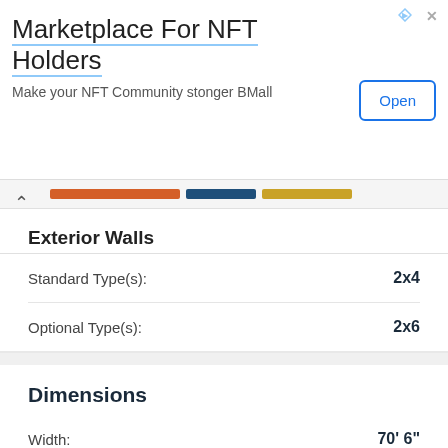[Figure (screenshot): Advertisement banner: 'Marketplace For NFT Holders' with subtitle 'Make your NFT Community stonger BMall' and an Open button]
Exterior Walls
| Field | Value |
| --- | --- |
| Standard Type(s): | 2x4 |
| Optional Type(s): | 2x6 |
Dimensions
| Field | Value |
| --- | --- |
| Width: | 70' 6" |
| Depth: | 59' 5" |